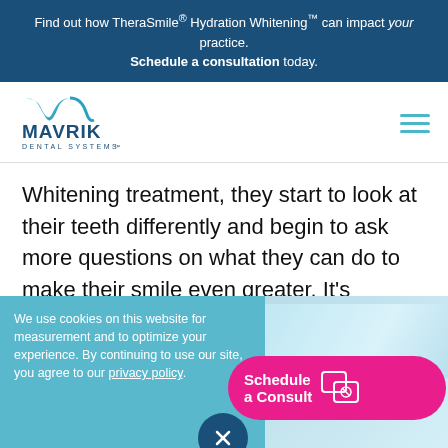Find out how TheraSmile® Hydration Whitening™ can impact your practice. Schedule a consultation today.
[Figure (logo): Mavrik Dental Systems logo with teal stylized M and blue text]
Whitening treatment, they start to look at their teeth differently and begin to ask more questions on what they can do to make their smile even greater. It's through those conversations that more and more dentistry is created, and your patients' eyes can be opened to new things they didn't realize were possible.
We use cookies on this website for measurement and to optimize your experience. By continuing to use our site, you agree to our privacy policy.